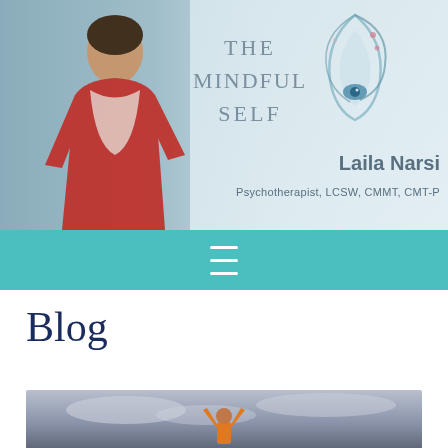[Figure (photo): Website header banner showing a woman in red jacket with scarf standing on a bridge, with 'The Mindful Self' logo, a decorative flame/eye icon, and text 'Laila Narsi, Psychotherapist, LCSW, CMMT, CMT-P']
[Figure (screenshot): Teal navigation bar with hamburger menu icon (three horizontal white lines)]
Blog
[Figure (photo): Partial photo showing a person in an orange jacket with arms raised against a cloudy sky background]